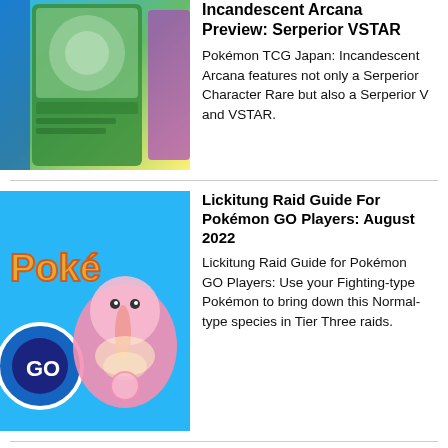[Figure (photo): Pokémon TCG card image showing Serperior VSTAR and other cards with green/blue color scheme]
Incandescent Arcana Preview: Serperior VSTAR
Pokémon TCG Japan: Incandescent Arcana features not only a Serperior Character Rare but also a Serperior V and VSTAR.
[Figure (photo): Pokémon GO promotional image featuring Lickitung on blue background with Pokémon GO logo]
Lickitung Raid Guide For Pokémon GO Players: August 2022
Lickitung Raid Guide for Pokémon GO Players: Use your Fighting-type Pokémon to bring down this Normal-type species in Tier Three raids.
[Figure (photo): Redfall game promotional dark blue image]
Redfall Developers Chat About The Game For